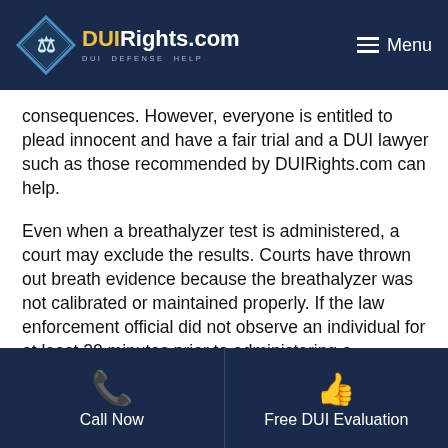DUIRights.com — DUI DEFENSE HELP | Menu
consequences. However, everyone is entitled to plead innocent and have a fair trial and a DUI lawyer such as those recommended by DUIRights.com can help.
Even when a breathalyzer test is administered, a court may exclude the results. Courts have thrown out breath evidence because the breathalyzer was not calibrated or maintained properly. If the law enforcement official did not observe an individual for at least 20 minutes prior to administering a breathalyzer test, a court may disregard the results.
Call Now | Free DUI Evaluation